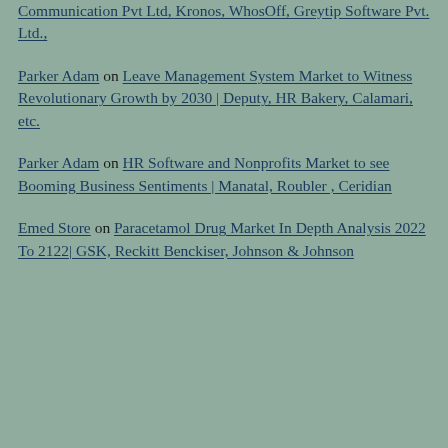Communication Pvt Ltd, Kronos, WhosOff, Greytip Software Pvt. Ltd.,
Parker Adam on Leave Management System Market to Witness Revolutionary Growth by 2030 | Deputy, HR Bakery, Calamari, etc.
Parker Adam on HR Software and Nonprofits Market to see Booming Business Sentiments | Manatal, Roubler , Ceridian
Emed Store on Paracetamol Drug Market In Depth Analysis 2022 To 2122| GSK, Reckitt Benckiser, Johnson & Johnson